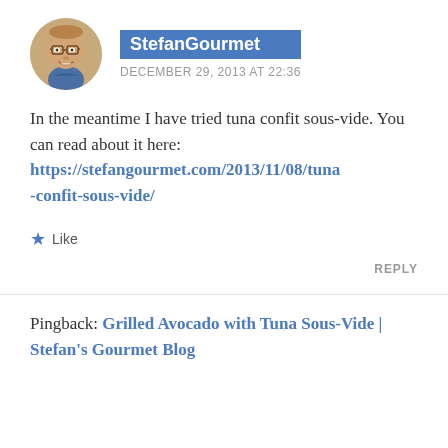[Figure (photo): Circular avatar photo of a man with glasses, smiling, wearing a collared shirt]
StefanGourmet
DECEMBER 29, 2013 AT 22:36
In the meantime I have tried tuna confit sous-vide. You can read about it here: https://stefangourmet.com/2013/11/08/tuna-confit-sous-vide/
★ Like
REPLY
Pingback: Grilled Avocado with Tuna Sous-Vide | Stefan's Gourmet Blog